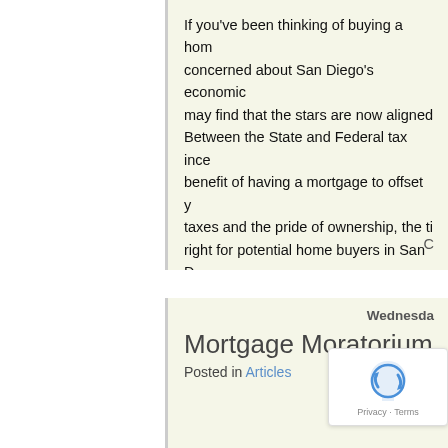If you've been thinking of buying a home but concerned about San Diego's economic climate, you may find that the stars are now aligned for you. Between the State and Federal tax incentives, the benefit of having a mortgage to offset your income taxes and the pride of ownership, the time may be right for potential home buyers in San D...
Wednesda...
Mortgage Moratorium
Posted in Articles